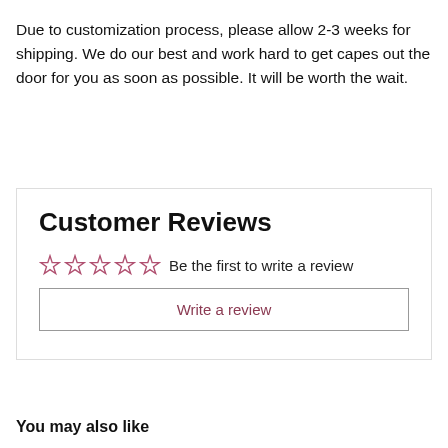Due to customization process, please allow 2-3 weeks for shipping. We do our best and work hard to get capes out the door for you as soon as possible. It will be worth the wait.
Customer Reviews
☆☆☆☆☆  Be the first to write a review
Write a review
You may also like